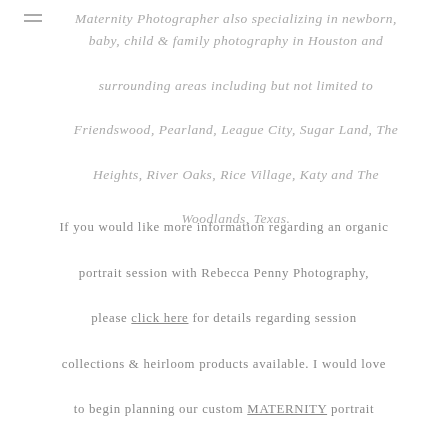Maternity Photographer also specializing in newborn, baby, child & family photography in Houston and surrounding areas including but not limited to Friendswood, Pearland, League City, Sugar Land, The Heights, River Oaks, Rice Village, Katy and The Woodlands, Texas.
If you would like more information regarding an organic portrait session with Rebecca Penny Photography, please click here for details regarding session collections & heirloom products available. I would love to begin planning our custom MATERNITY portrait session together. Please be sure to click on the contact button about or email me at rebeccapennyphotography@gmail.com to schedule your